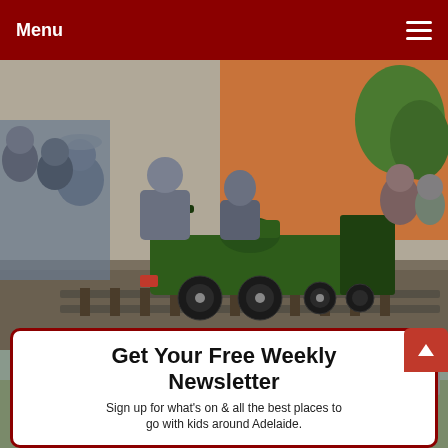Menu
[Figure (photo): Children and adults riding a large green steam locomotive model on a garden railway track outdoors, with an orange building in the background.]
[Figure (photo): Partial outdoor scene with trees, partially obscured by a newsletter signup popup overlay.]
Get Your Free Weekly Newsletter
Sign up for what's on & all the best places to go with kids around Adelaide.